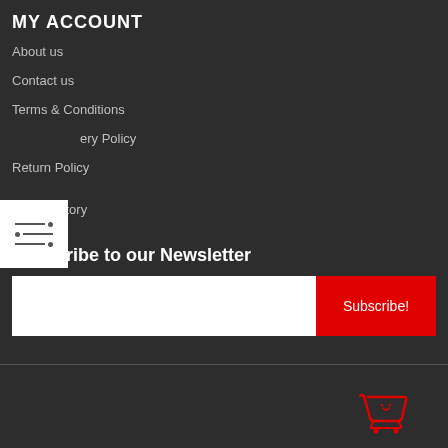MY ACCOUNT
About us
Contact us
Terms & Conditions
Delivery Policy
Return Policy
Order history
Subscribe to our Newsletter
[Figure (other): Email input field with red Subscribe button]
[Figure (logo): Red shopping cart / smiling face logo icon in bottom right]